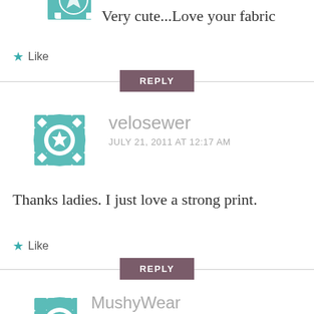[Figure (logo): Teal geometric quilt-pattern avatar icon (top half cropped)]
Very cute...Love your fabric
★ Like
REPLY
[Figure (logo): Teal geometric quilt-pattern avatar icon for velosewer]
velosewer
JULY 21, 2011 AT 12:17 AM
Thanks ladies. I just love a strong print.
★ Like
REPLY
[Figure (logo): Teal geometric quilt-pattern avatar icon (bottom partially visible) for MushyWear]
MushyWear